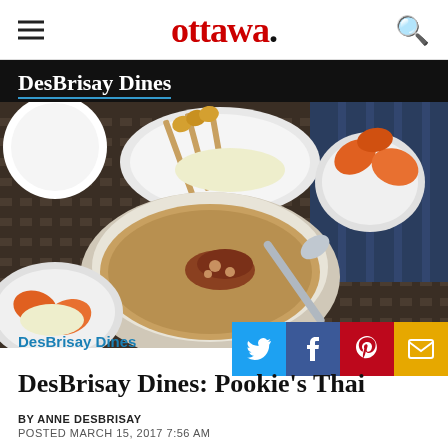ottawa.
DesBrisay Dines
[Figure (photo): Thai food spread on a table: bowls of peanut sauce with garnishes, satay skewers, carrot flowers, white plates on a dark woven mat]
DesBrisay Dines
DesBrisay Dines: Pookie's Thai
BY ANNE DESBRISAY
POSTED MARCH 15, 2017 7:56 AM